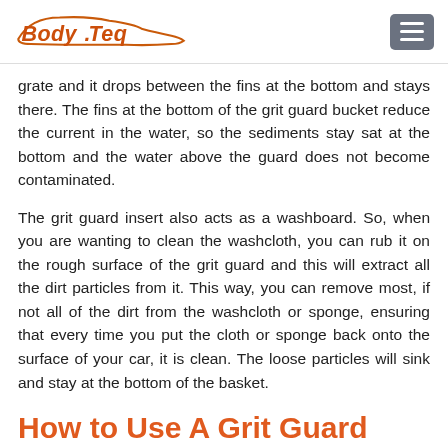BodyTeq
grate and it drops between the fins at the bottom and stays there. The fins at the bottom of the grit guard bucket reduce the current in the water, so the sediments stay sat at the bottom and the water above the guard does not become contaminated.
The grit guard insert also acts as a washboard. So, when you are wanting to clean the washcloth, you can rub it on the rough surface of the grit guard and this will extract all the dirt particles from it. This way, you can remove most, if not all of the dirt from the washcloth or sponge, ensuring that every time you put the cloth or sponge back onto the surface of your car, it is clean. The loose particles will sink and stay at the bottom of the basket.
How to Use A Grit Guard
Step One ... are a bucket